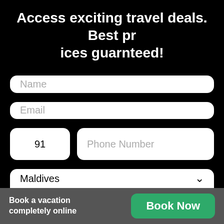Access exciting travel deals. Best prices guarnteed!
Name
Email
91
Phone Number
Maldives
Book a vacation completely online
Book Now